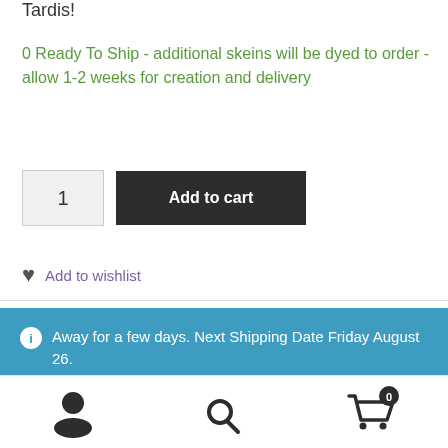Tardis!
0 Ready To Ship - additional skeins will be dyed to order - allow 1-2 weeks for creation and delivery
1  Add to cart
♥ Add to wishlist
Away for a few days. Next Shipping Date Friday August 26.
Dismiss